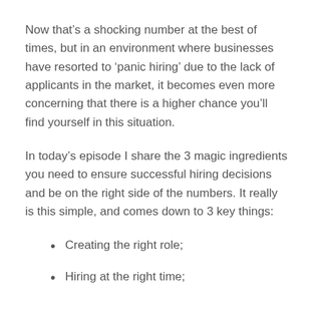Now that’s a shocking number at the best of times, but in an environment where businesses have resorted to ‘panic hiring’ due to the lack of applicants in the market, it becomes even more concerning that there is a higher chance you’ll find yourself in this situation.
In today’s episode I share the 3 magic ingredients you need to ensure successful hiring decisions and be on the right side of the numbers. It really is this simple, and comes down to 3 key things:
Creating the right role;
Hiring at the right time;